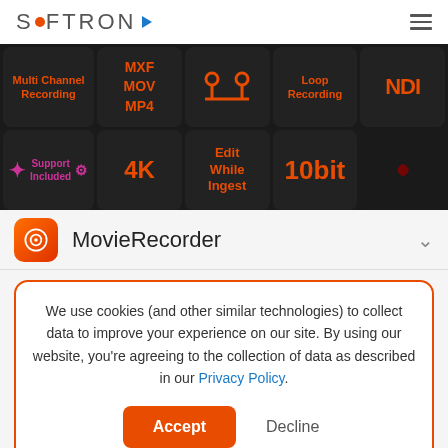[Figure (logo): Softron logo with orange dot, blue play triangle, and hamburger menu icon]
[Figure (screenshot): Dark tile banner showing: Multi Channel Recording, MXF MOV MP4, signal icon, Loop Recording, NDI, Support Included (with gear icon), 4K, Edit While Ingest, 10bit, and partial apple/wave tiles]
[Figure (logo): MovieRecorder app icon - orange/red rounded square with target/record circle icon, label 'MovieRecorder' and chevron]
We use cookies (and other similar technologies) to collect data to improve your experience on our site. By using our website, you're agreeing to the collection of data as described in our Privacy Policy.